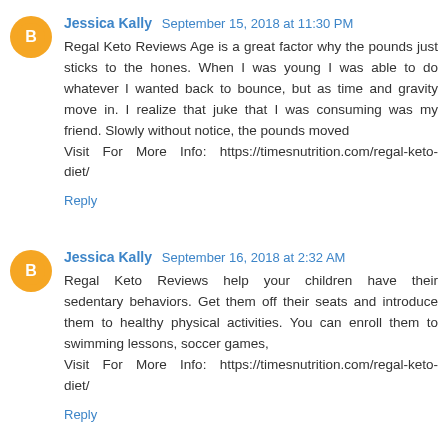Jessica Kally  September 15, 2018 at 11:30 PM
Regal Keto Reviews Age is a great factor why the pounds just sticks to the hones. When I was young I was able to do whatever I wanted back to bounce, but as time and gravity move in. I realize that juke that I was consuming was my friend. Slowly without notice, the pounds moved
Visit For More Info: https://timesnutrition.com/regal-keto-diet/
Reply
Jessica Kally  September 16, 2018 at 2:32 AM
Regal Keto Reviews help your children have their sedentary behaviors. Get them off their seats and introduce them to healthy physical activities. You can enroll them to swimming lessons, soccer games,
Visit For More Info: https://timesnutrition.com/regal-keto-diet/
Reply